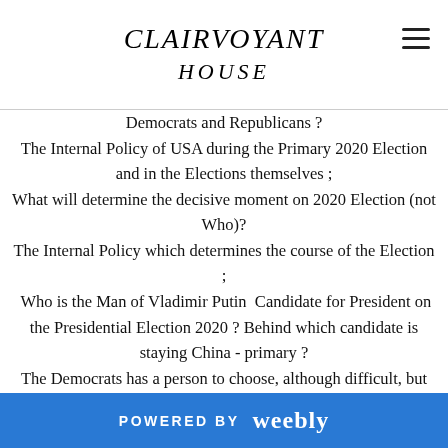CLAIRVOYANT HOUSE
Democrats and Republicans ?
The Internal Policy of USA during the Primary 2020 Election and in the Elections themselves ;
What will determine the decisive moment on 2020 Election (not Who)?
The Internal Policy which determines the course of the Election ;
Who is the Man of Vladimir Putin  Candidate for President on the Presidential Election 2020 ? Behind which candidate is staying China - primary ?
The Democrats has a person to choose, although difficult, but they will make the right choice. The Republicans - do they also need to agree on what will lead their country ?
Is Donald Trump alive ? In what resembles the
POWERED BY weebly